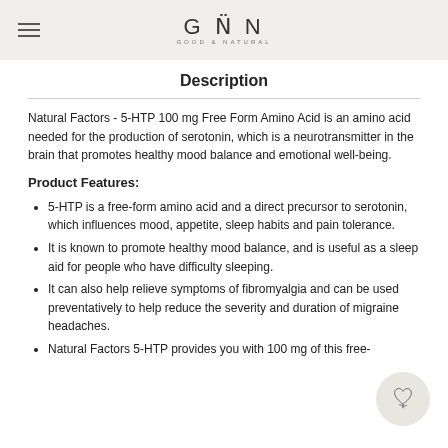GNN Good & Natural
Description
Natural Factors - 5-HTP 100 mg Free Form Amino Acid is an amino acid needed for the production of serotonin, which is a neurotransmitter in the brain that promotes healthy mood balance and emotional well-being.
Product Features:
5-HTP is a free-form amino acid and a direct precursor to serotonin, which influences mood, appetite, sleep habits and pain tolerance.
It is known to promote healthy mood balance, and is useful as a sleep aid for people who have difficulty sleeping.
It can also help relieve symptoms of fibromyalgia and can be used preventatively to help reduce the severity and duration of migraine headaches.
Natural Factors 5-HTP provides you with 100 mg of this free-